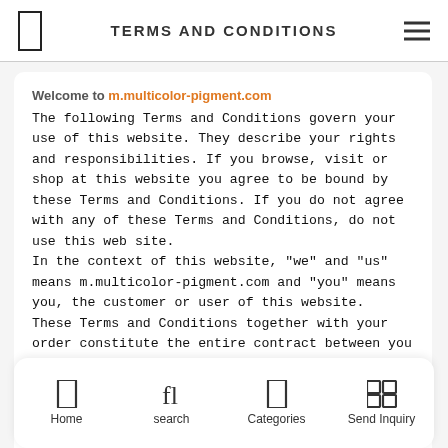TERMS AND CONDITIONS
Welcome to m.multicolor-pigment.com
The following Terms and Conditions govern your use of this website. They describe your rights and responsibilities. If you browse, visit or shop at this website you agree to be bound by these Terms and Conditions. If you do not agree with any of these Terms and Conditions, do not use this web site.
In the context of this website, "we" and "us" means m.multicolor-pigment.com and "you" means you, the customer or user of this website.
These Terms and Conditions together with your order constitute the entire contract between you and us for the supply of products. No other Terms and Conditions will apply. The contract cannot be varied unless we agree to vary it in writing or by email.
a,
Conditions from time to time for such changes
Home | search | Categories | Send Inquiry